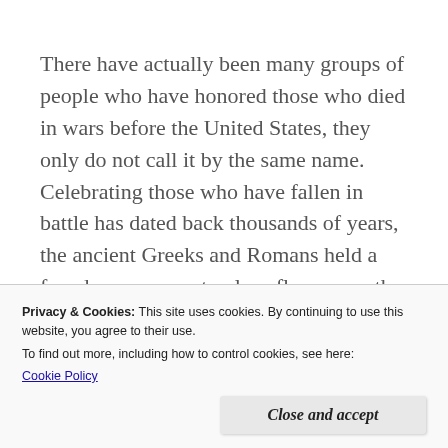There have actually been many groups of people who have honored those who died in wars before the United States, they only do not call it by the same name. Celebrating those who have fallen in battle has dated back thousands of years, the ancient Greeks and Romans held a few days per year to place flowers on the graves of loved ones (especially soldiers) and feast in honor of the
Privacy & Cookies: This site uses cookies. By continuing to use this website, you agree to their use.
To find out more, including how to control cookies, see here:
Cookie Policy
Close and accept
veteran's organizations. Many of the larger